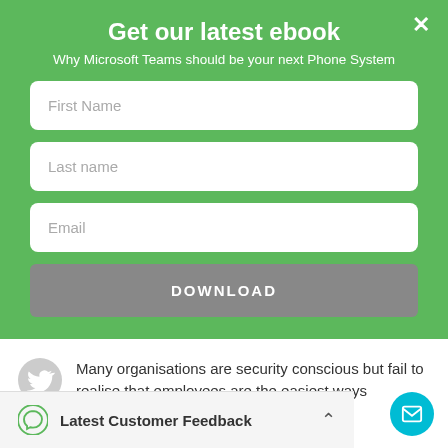Get our latest ebook
Why Microsoft Teams should be your next Phone System
First Name
Last name
Email
DOWNLOAD
1 week ago
Many organisations are security conscious but fail to realise that employees are the easiest ways cybercriminals ca…
twitter.com/i/web/status/1…
Latest Customer Feedback